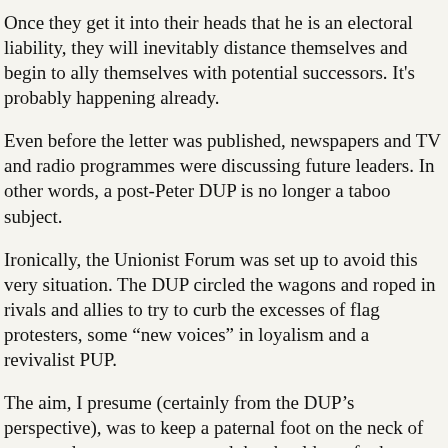Once they get it into their heads that he is an electoral liability, they will inevitably distance themselves and begin to ally themselves with potential successors. It’s probably happening already.
Even before the letter was published, newspapers and TV and radio programmes were discussing future leaders. In other words, a post-Peter DUP is no longer a taboo subject.
Ironically, the Unionist Forum was set up to avoid this very situation. The DUP circled the wagons and roped in rivals and allies to try to curb the excesses of flag protesters, some “new voices” in loyalism and a revivalist PUP.
The aim, I presume (certainly from the DUP’s perspective), was to keep a paternal foot on the neck of some and a strong arm around the shoulders of others. And, yet, it is the DUP which proved to be out of step and out of touch.
What will most concern the DUP is the possibility of electoral damage. But the party has a number of things in its favour.
The first is that their rivals don’t, in fact, have a common strategy on the Maze. Some don’t want a potential “shrine” anywhere, while others just don’t want it at the Maze. The UUP/TUV/PUP/Ukip